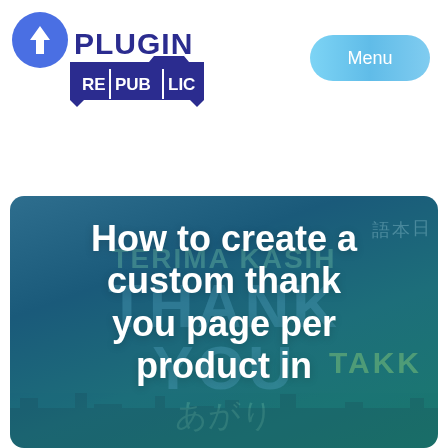[Figure (logo): Plugin Republic logo with rocket icon and banner-style text reading PLUGIN REPUBLIC]
[Figure (illustration): Blue rounded pill-shaped Menu button]
[Figure (illustration): Hero banner image with dark teal background featuring multilingual thank-you words (TERIMA KASIH, THANK YOU, あがり, TAKK) and city silhouette, overlaid with large white bold text]
How to create a custom thank you page per product in